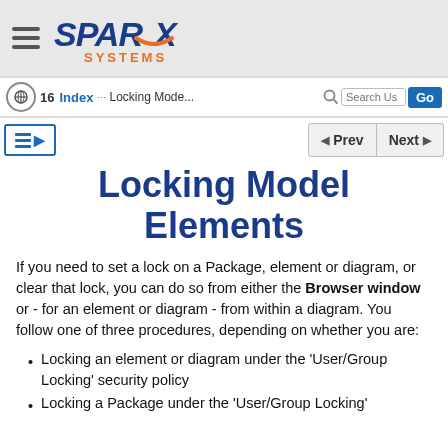Sparx Systems — navigation header
16  Index  ...  Locking Mode...  Search Usr  Go
Locking Model Elements
If you need to set a lock on a Package, element or diagram, or clear that lock, you can do so from either the Browser window or - for an element or diagram - from within a diagram. You follow one of three procedures, depending on whether you are:
Locking an element or diagram under the 'User/Group Locking' security policy
Locking a Package under the 'User/Group Locking'